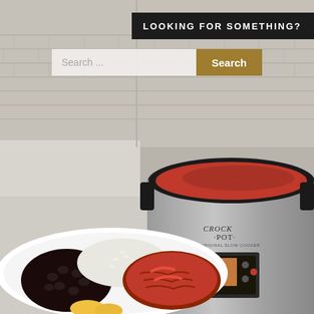[Figure (photo): A Crock-Pot slow cooker on a white kitchen counter with tile backsplash, containing tomato-based dish. In the foreground is a white plate with black beans, white rice, and shredded meat in red tomato sauce, with a slice of yellow plantain.]
LOOKING FOR SOMETHING?
Search ...
Search